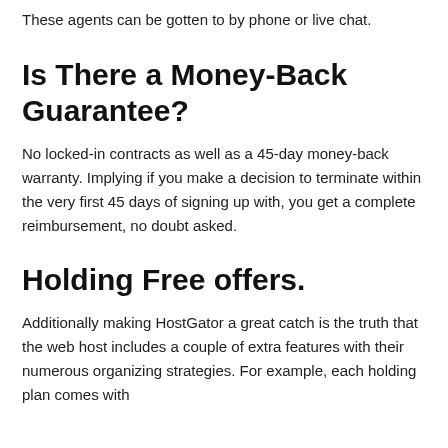These agents can be gotten to by phone or live chat.
Is There a Money-Back Guarantee?
No locked-in contracts as well as a 45-day money-back warranty. Implying if you make a decision to terminate within the very first 45 days of signing up with, you get a complete reimbursement, no doubt asked.
Holding Free offers.
Additionally making HostGator a great catch is the truth that the web host includes a couple of extra features with their numerous organizing strategies. For example, each holding plan comes with